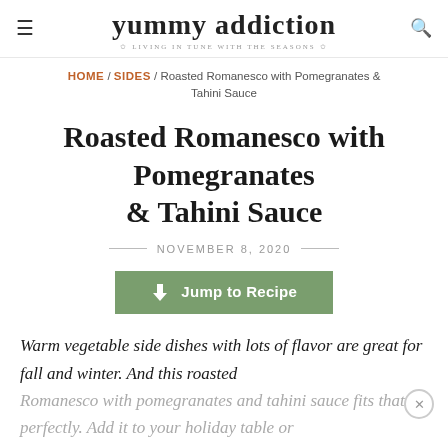yummy addiction — LIVING IN TUNE WITH THE SEASONS
HOME / SIDES / Roasted Romanesco with Pomegranates & Tahini Sauce
Roasted Romanesco with Pomegranates & Tahini Sauce
NOVEMBER 8, 2020
Jump to Recipe
Warm vegetable side dishes with lots of flavor are great for fall and winter. And this roasted Romanesco with pomegranates and tahini sauce fits that perfectly. Add it to your holiday table or